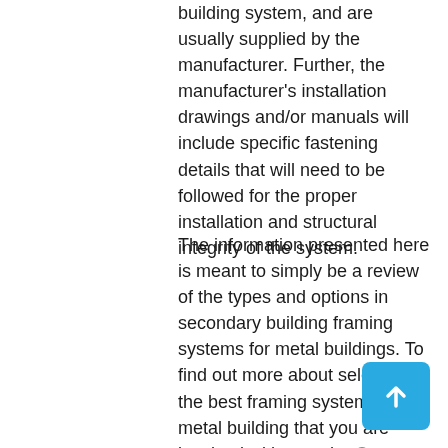building system, and are usually supplied by the manufacturer. Further, the manufacturer's installation drawings and/or manuals will include specific fastening details that will need to be followed for the proper installation and structural integrity of the system.
The information presented here is meant to simply be a review of the types and options in secondary building framing systems for metal buildings. To find out more about selecting the best framing system for a metal building that you are involved with, see the Ceco website or contact your local Ceco representative.